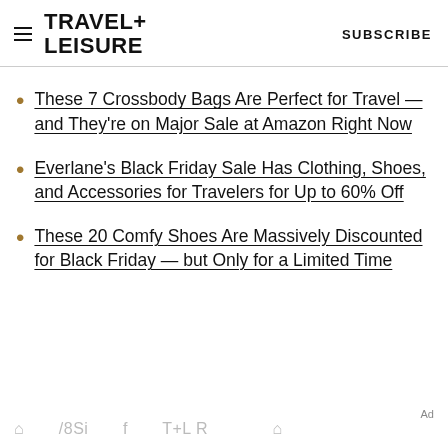TRAVEL+ LEISURE   SUBSCRIBE
These 7 Crossbody Bags Are Perfect for Travel — and They're on Major Sale at Amazon Right Now
Everlane's Black Friday Sale Has Clothing, Shoes, and Accessories for Travelers for Up to 60% Off
These 20 Comfy Shoes Are Massively Discounted for Black Friday — but Only for a Limited Time
Ad